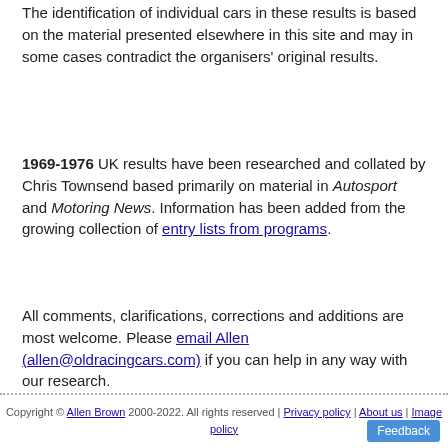The identification of individual cars in these results is based on the material presented elsewhere in this site and may in some cases contradict the organisers' original results.
1969-1976 UK results have been researched and collated by Chris Townsend based primarily on material in Autosport and Motoring News. Information has been added from the growing collection of entry lists from programs.
All comments, clarifications, corrections and additions are most welcome. Please email Allen (allen@oldracingcars.com) if you can help in any way with our research.
Copyright © Allen Brown 2000-2022. All rights reserved | Privacy policy | About us | Image policy